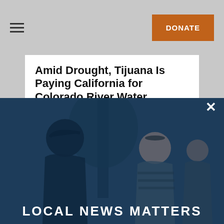DONATE
Amid Drought, Tijuana Is Paying California for Colorado River Water
[Figure (photo): Two people talking outdoors near a tree, overlaid with a dark blue translucent modal. A woman wearing sunglasses on her head and a striped shirt faces another person whose back is to the camera. Text 'LOCAL NEWS MATTERS' appears at the bottom of the overlay.]
LOCAL NEWS MATTERS